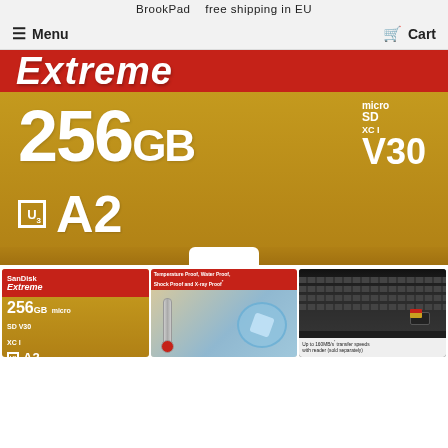BrookPad   free shipping in EU
Menu   Cart
[Figure (photo): Large close-up photo of SanDisk Extreme 256GB microSDXC card with gold and red design showing 256GB, microSD V30, UHS-I, U3, A2 logos]
[Figure (photo): Thumbnail of SanDisk Extreme 256GB microSDXC card front view]
[Figure (photo): Thumbnail showing Temperature Proof, Water Proof, Shock Proof and X-ray Proof features with thermometer and water imagery]
[Figure (photo): Thumbnail showing laptop keyboard with USB card reader and SanDisk card, captioned: Up to 160MB/s transfer speeds with reader (sold separately)]